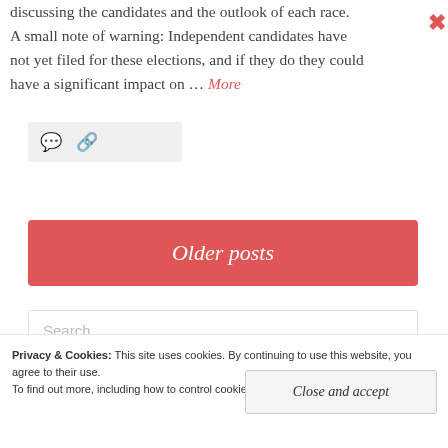discussing the candidates and the outlook of each race. A small note of warning: Independent candidates have not yet filed for these elections, and if they do they could have a significant impact on … More
[Figure (other): Icon bar with comment and link icons on grey background]
Older posts
Search ...
Privacy & Cookies: This site uses cookies. By continuing to use this website, you agree to their use.
To find out more, including how to control cookies, see here: Cookie Policy
Close and accept